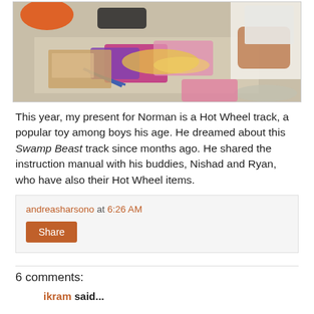[Figure (photo): Photo of a desk with snack packages, scissors, papers, and a person in white shirt reaching over the desk]
This year, my present for Norman is a Hot Wheel track, a popular toy among boys his age. He dreamed about this Swamp Beast track since months ago. He shared the instruction manual with his buddies, Nishad and Ryan, who have also their Hot Wheel items.
andreasharsono at 6:26 AM
Share
6 comments:
ikram said...